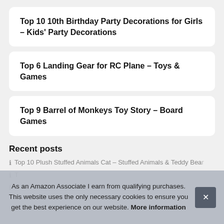Top 10 10th Birthday Party Decorations for Girls – Kids' Party Decorations
Top 6 Landing Gear for RC Plane – Toys & Games
Top 9 Barrel of Monkeys Toy Story – Board Games
Recent posts
Top 10 Plush Stuffed Animals Cat – Stuffed Animals & Teddy Bears
T
T
As an Amazon Associate I earn from qualifying purchases. This website uses the only necessary cookies to ensure you get the best experience on our website. More information